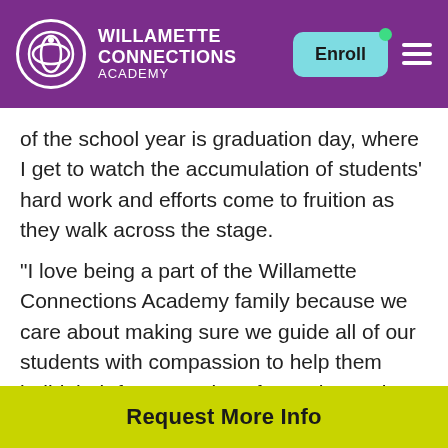Willamette Connections Academy — Enroll
of the school year is graduation day, where I get to watch the accumulation of students' hard work and efforts come to fruition as they walk across the stage. “I love being a part of the Willamette Connections Academy family because we care about making sure we guide all of our students with compassion to help them build their future stories of growth, service, and exploration. “This is my ninth year in virtual education.
Request More Info